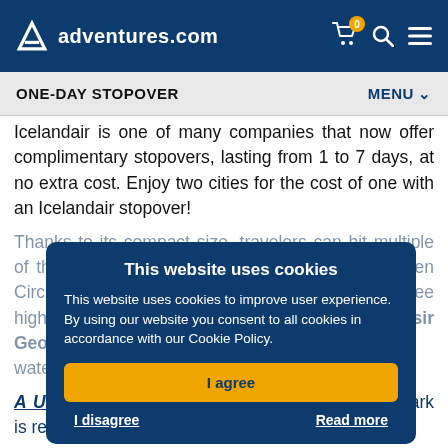adventures.com — ONE-DAY STOPOVER | MENU
Icelandair is one of many companies that now offer complimentary stopovers, lasting from 1 to 7 days, at no extra cost. Enjoy two cities for the cost of one with an Icelandair stopover!
Thanks to its compact size, travelers can hit multiple of the island's popular sites in one day. The Golden Circle route is the most famous and includes three highlights: Thingvellir National Park, the Geysir Geothermal Area, and Gulfoss waterfall.
This website uses cookies — This website uses cookies to improve user experience. By using our website you consent to all cookies in accordance with our Cookie Policy. [I agree] [I disagree] [Read more]
A UNESCO heritage site, Thingvellir National Park is renowned for its historical and geological